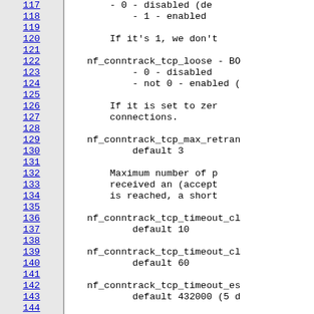Line numbers 117-145 of a Linux kernel documentation file about nf_conntrack TCP settings. Lines show: - 0 - disabled (default), - 1 - enabled, blank, If it's 1 we don't, blank, nf_conntrack_tcp_loose - BO, - 0 - disabled, - not 0 - enabled (, blank, If it is set to zer, connections., blank, nf_conntrack_tcp_max_retran, default 3, blank, Maximum number of p, received an (accept, is reached a short, blank, nf_conntrack_tcp_timeout_cl, default 10, blank, nf_conntrack_tcp_timeout_cl, default 60, blank, nf_conntrack_tcp_timeout_es, default 432000 (5 d, blank, nf_conntrack_tcp_timeout_fi